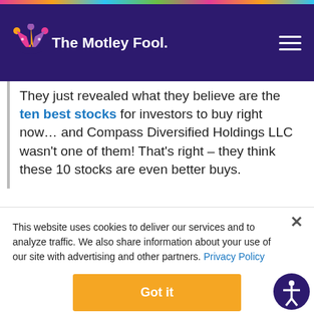The Motley Fool
They just revealed what they believe are the ten best stocks for investors to buy right now… and Compass Diversified Holdings LLC wasn't one of them! That's right – they think these 10 stocks are even better buys.
This website uses cookies to deliver our services and to analyze traffic. We also share information about your use of our site with advertising and other partners. Privacy Policy
Got it
Cookie Settings